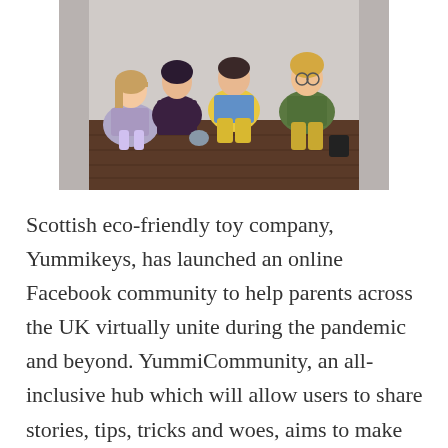[Figure (photo): Four children sitting on a dark wooden floor against a light wall. One girl in a plaid purple dress, one woman/child in dark clothing, one child in blue floral top with yellow patterned pants, and one boy with glasses in a green printed top with yellow pants.]
Scottish eco-friendly toy company, Yummikeys, has launched an online Facebook community to help parents across the UK virtually unite during the pandemic and beyond. YummiCommunity, an all-inclusive hub which will allow users to share stories, tips, tricks and woes, aims to make times a little less lonely during